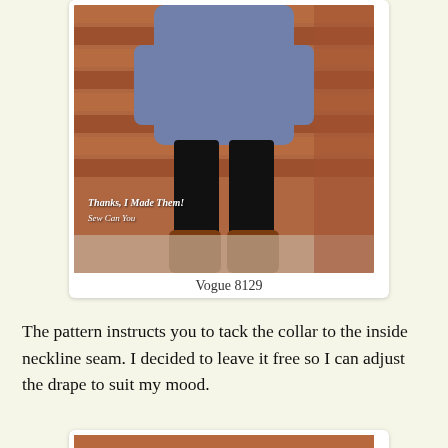[Figure (photo): Woman wearing blue-grey tunic top and black leggings with brown riding boots, standing in front of a brick wall. Watermark text reads 'Thanks, I Made Them! Sew Can You']
Vogue 8129
The pattern instructs you to tack the collar to the inside neckline seam. I decided to leave it free so I can adjust the drape to suit my mood.
[Figure (photo): Partial view of another photo, cropped at bottom of page, showing brick wall background]